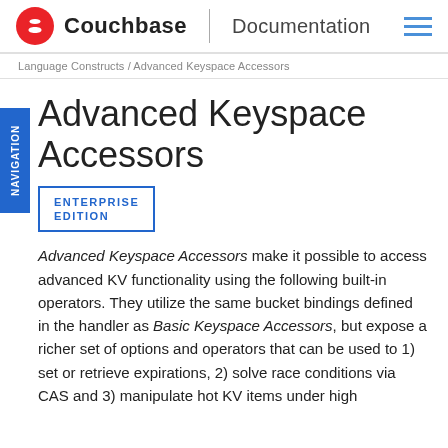Couchbase | Documentation
Language Constructs / Advanced Keyspace Accessors
Advanced Keyspace Accessors
ENTERPRISE EDITION
Advanced Keyspace Accessors make it possible to access advanced KV functionality using the following built-in operators. They utilize the same bucket bindings defined in the handler as Basic Keyspace Accessors, but expose a richer set of options and operators that can be used to 1) set or retrieve expirations, 2) solve race conditions via CAS and 3) manipulate hot KV items under high